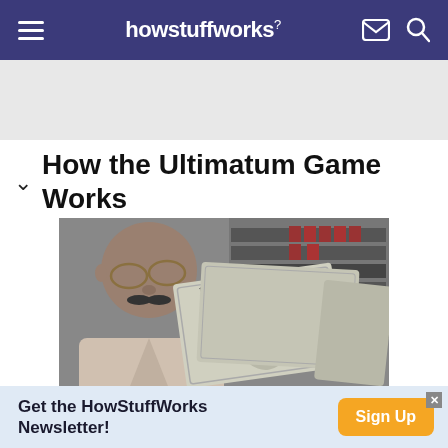howstuffworks
[Figure (photo): Gray advertisement placeholder banner]
How the Ultimatum Game Works
[Figure (photo): Man holding up US $100 dollar bills in front of his face, with shelves of merchandise in the background. Black and white / desaturated photo.]
Get the HowStuffWorks Newsletter!
Sign Up